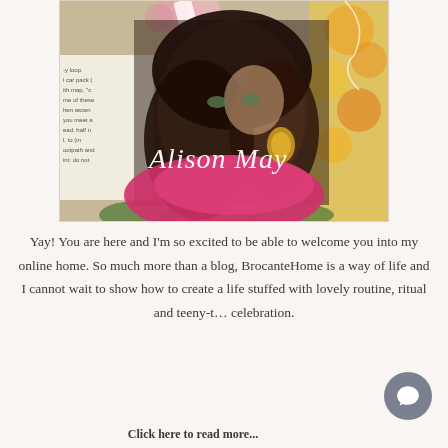[Figure (photo): Portrait photo of Alison May, a woman with curly dark hair wearing a pink scarf, with floral decorations and text overlay reading 'Alison May' in cursive white script. Background includes flowers, a book page excerpt, and yellow floral fabric.]
Yay! You are here and I'm so excited to be able to welcome you into my online home. So much more than a blog, BrocanteHome is a way of life and I cannot wait to show how to create a life stuffed with lovely routine, ritual and teeny-t... celebration.
Click here to read more...